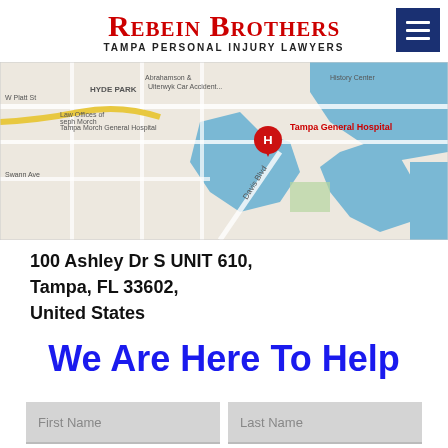Rebein Brothers – Tampa Personal Injury Lawyers
[Figure (map): Google Maps view showing Tampa General Hospital location near Hyde Park, Tampa FL, with a red pin marker and surrounding streets including W Platt St, Davis Blvd, Swann Ave, and nearby landmarks.]
100 Ashley Dr S UNIT 610,
Tampa, FL 33602,
United States
We Are Here To Help
First Name | Last Name (form fields)